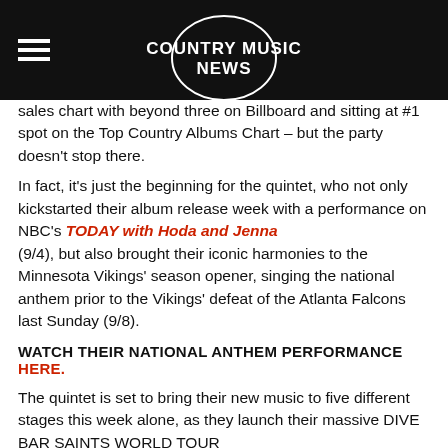COUNTRY MUSIC NEWS
sales chart with beyond three on Billboard and sitting at #1 spot on the Top Country Albums Chart – but the party doesn't stop there.
In fact, it's just the beginning for the quintet, who not only kickstarted their album release week with a performance on NBC's TODAY with Hoda and Jenna (9/4), but also brought their iconic harmonies to the Minnesota Vikings' season opener, singing the national anthem prior to the Vikings' defeat of the Atlanta Falcons last Sunday (9/8).
WATCH THEIR NATIONAL ANTHEM PERFORMANCE HERE.
The quintet is set to bring their new music to five different stages this week alone, as they launch their massive DIVE BAR SAINTS WORLD TOUR with back-to-back shows on the West Coast. The trek begins tomorrow (9/18) with four stops in California – Fresno (9/18), Cerritos (9/19), Bakersfield (9/20) and San Diego (9/21) – before making its way to Tucson, AZ (9/22).
From there, the DIVE BAR SAINTS WORLD TOUR will continue through